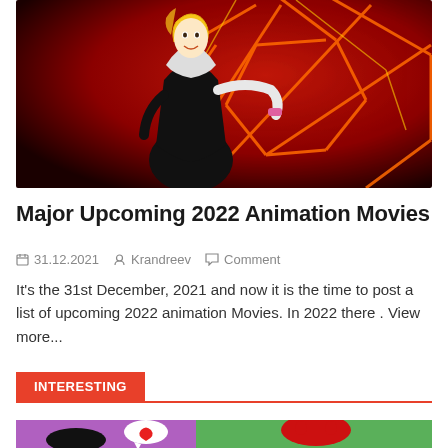[Figure (illustration): Animated character (Spider-Gwen) in black bodysuit with white hood, blonde hair, smiling, against a vivid red geometric web background with orange and yellow neon accents.]
Major Upcoming 2022 Animation Movies
31.12.2021   Krandreev   Comment
It's the 31st December, 2021 and now it is the time to post a list of upcoming 2022 animation Movies. In 2022 there . View more...
INTERESTING
[Figure (illustration): Colorful comic-style illustration showing cartoon characters including a red creature and speech bubble with a heart, purple and green background.]